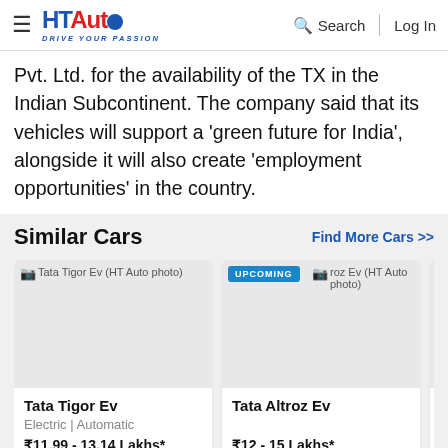HT Auto – Drive Your Passion | Search | Log In
Pvt. Ltd. for the availability of the TX in the Indian Subcontinent. The company said that its vehicles will support a 'green future for India', alongside it will also create 'employment opportunities' in the country.
Similar Cars
[Figure (screenshot): Tata Tigor Ev car card with image placeholder, price ₹11.99 - 13.14 Lakhs*, Electric | Automatic, Ex-showroom price]
[Figure (screenshot): Tata Altroz Ev car card with UPCOMING badge, price ₹12 - 15 Lakhs*, Expected Price]
[Figure (screenshot): Partial third car card (cut off)]